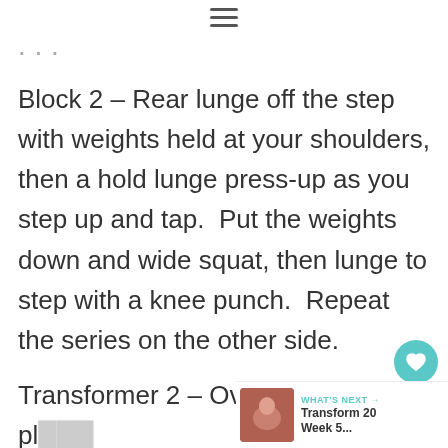≡
· · · (partial text cut off at top)
Block 2 – Rear lunge off the step with weights held at your shoulders, then a hold lunge press-up as you step up and tap.  Put the weights down and wide squat, then lunge to step with a knee punch.  Repeat the series on the other side.
Transformer 2 – Over-the-top pl… with X jump.